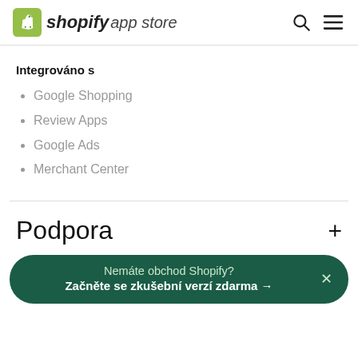shopify app store
Integrováno s
Google Shopping
Review Apps
Google Ads
Merchant Center
Podpora
Nemáte obchod Shopify? Začněte se zkušební verzí zdarma →